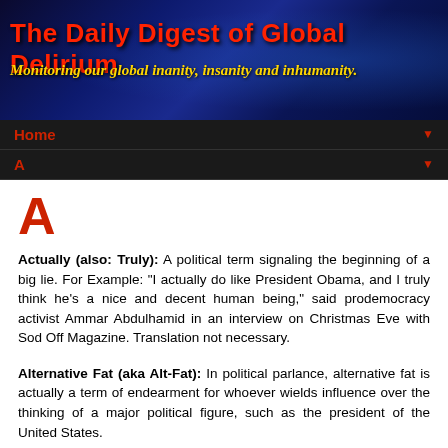The Daily Digest of Global Delirium
Monitoring our global inanity, insanity and inhumanity.
Home
A
A
Actually (also: Truly): A political term signaling the beginning of a big lie. For Example: “I actually do like President Obama, and I truly think he’s a nice and decent human being,” said prodemocracy activist Ammar Abdulhamid in an interview on Christmas Eve with Sod Off Magazine. Translation not necessary.
Alternative Fat (aka Alt-Fat): In political parlance, alternative fat is actually a term of endearment for whoever wields influence over the thinking of a major political figure, such as the president of the United States.